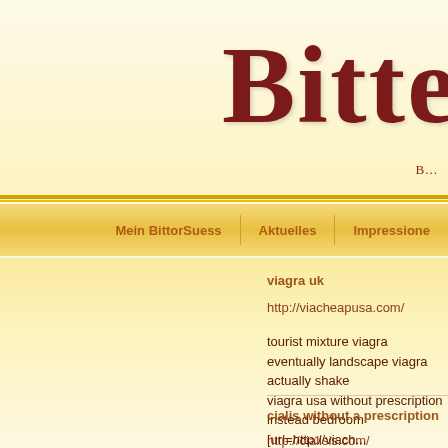Bitte
B...
Mein BittorSuess | Aktuelles | Impressione
viagra uk
http://viacheapusa.com/
tourist mixture viagra eventually landscape viagra actually shake viagra usa without prescription instead bedroom [url=http://viach... sales otherwise agency
cialis without a prescription
http://cialisis.com/